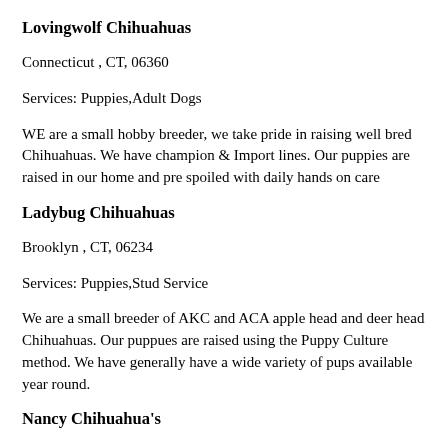Lovingwolf Chihuahuas
Connecticut , CT, 06360
Services: Puppies,Adult Dogs
WE are a small hobby breeder, we take pride in raising well bred Chihuahuas. We have champion & Import lines. Our puppies are raised in our home and pre spoiled with daily hands on care
Ladybug Chihuahuas
Brooklyn , CT, 06234
Services: Puppies,Stud Service
We are a small breeder of AKC and ACA apple head and deer head Chihuahuas. Our puppues are raised using the Puppy Culture method. We have generally have a wide variety of pups available year round.
Nancy Chihuahua's
Dudley, MA, 01571